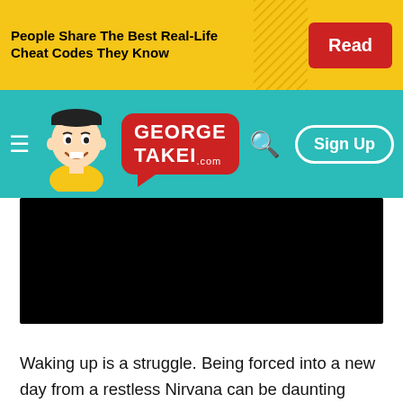[Figure (other): Advertisement banner: yellow background with bold text 'People Share The Best Real-Life Cheat Codes They Know' and a red 'Read' button on the right.]
[Figure (other): George Takei website navigation bar in teal with cartoon mascot, red speech-bubble logo reading GEORGE TAKEI .com, hamburger menu, search icon, and Sign Up button.]
[Figure (other): Black rectangle representing a redacted or loading image area on the article page.]
Waking up is a struggle. Being forced into a new day from a restless Nirvana can be daunting enough let alone waking up from a restless slumber or a horrifying nightmare to some sort of living torture. Imagine that lawnmower, construction or a one night stand who's name you can't recall.